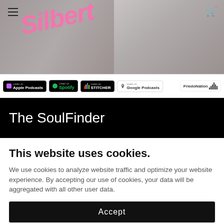[Figure (screenshot): Website header with background photo of person, 'Silbertu...' text in pink, hamburger menu icon, cart icon, and podcast platform badges (Apple Podcasts, Spotify, Stitcher, Google Podcasts, FriedoNation)]
The SoulFinder
This website uses cookies.
We use cookies to analyze website traffic and optimize your website experience. By accepting our use of cookies, your data will be aggregated with all other user data.
Accept